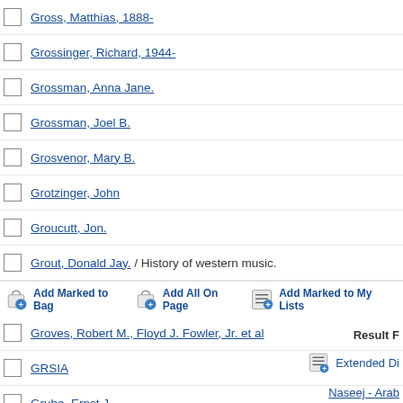Grossinger, Richard, 1944-
Grossman, Anna Jane.
Grossman, Joel B.
Grosvenor, Mary B.
Grotzinger, John
Groucutt, Jon.
Grout, Donald Jay. / History of western music.
Groves, Eric (Eric S.)
Groves, Robert M., Floyd J. Fowler, Jr. et al
GRSIA
Grube, Ernst J.
Guare, Richard
Add Marked to Bag  Add All On Page  Add Marked to My Lists
Result F
Extended Di
Naseej - Arab